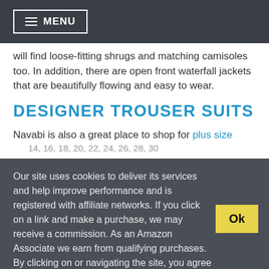MENU
will find loose-fitting shrugs and matching camisoles too. In addition, there are open front waterfall jackets that are beautifully flowing and easy to wear.
DESIGNER TROUSER SUITS
Navabi is also a great place to shop for plus size
Our site uses cookies to deliver its services and help improve performance and is registered with affiliate networks. If you click on a link and make a purchase, we may receive a commission. As an Amazon Associate we earn from qualifying purchases. By clicking on or navigating the site, you agree to our use of cookies. View our Cookie Policy and Affiliate Disclosure